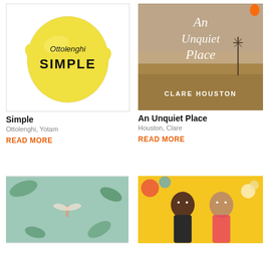[Figure (illustration): Book cover: Ottolenghi SIMPLE with a large yellow lemon illustration on white background]
Simple
Ottolenghi, Yotam
READ MORE
[Figure (photo): Book cover: An Unquiet Place by Clare Houston, showing Australian outback landscape with windmill, handwritten style title in white on muted brown background]
An Unquiet Place
Houston, Clare
READ MORE
[Figure (illustration): Book cover showing a fairy-like figure with wings among botanical illustrations on teal background]
[Figure (photo): Book cover showing two smiling young Asian people against a yellow background with colorful elements]